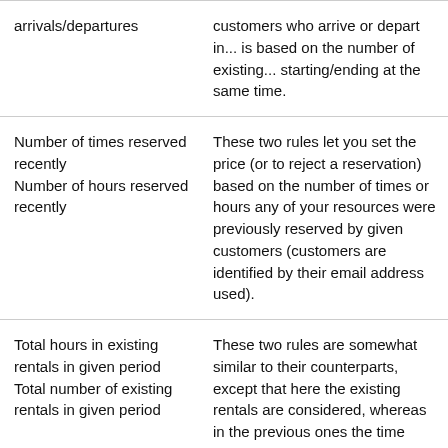| Rule name | Description |
| --- | --- |
| Same time arrivals/departures | This rule allows you to limit the number of customers who arrive or depart in... is based on the number of existing... starting/ending at the same time. |
| Number of times reserved recently
Number of hours reserved recently | These two rules let you set the price (or to reject a reservation) based on the number of times or hours any of your resources were previously reserved by given customers (customers are identified by their email address used). |
| Total hours in existing rentals in given period
Total number of existing rentals in given period | These two rules are somewhat similar to their counterparts, except that here the existing rentals are considered, whereas in the previous ones the time when the reservations are created is considered. |